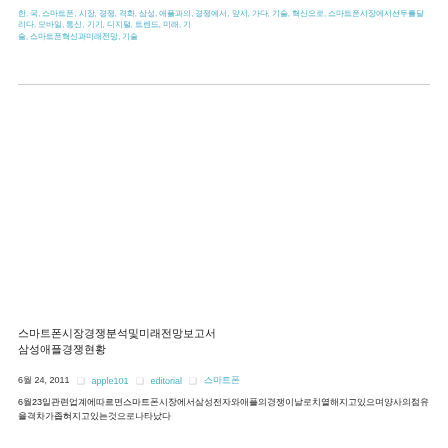한, 국, 스마트폰, 시장, 경쟁, 격화, 삼성, 애플과의, 경쟁에서, 앞서, 가다, 기술, 혁신으로, 스마트폰시장에서선두를달리다, 모바일, 통신, 기기, 디지털, 트렌드, 미래, 기, 스마트폰혁신과미래전망, 기술
스마트폰시장경쟁분석및미래전망보고서
삼성애플경쟁현황
6월 24, 2011　　❑　apple101　　❑　editorial　　❑　스마트폰
6월23일관련업계에따르면스마트폰시장에서삼성전자와애플의경쟁이날로치열해지고있으며양사의점유율격차가좁혀지고있는것으로나타났다